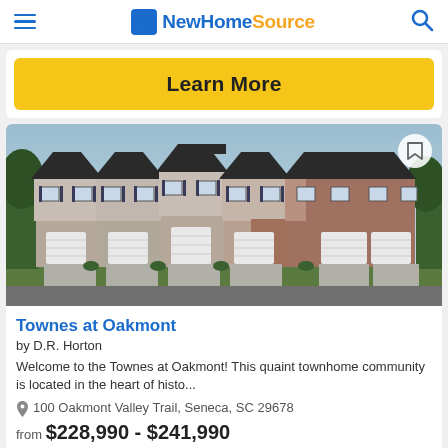NewHomeSource
Learn More
[Figure (photo): Exterior rendering of Townes at Oakmont townhome community showing a row of two-story townhomes with gray siding, dark roofs, and white garage doors]
Townes at Oakmont
by D.R. Horton
Welcome to the Townes at Oakmont! This quaint townhome community is located in the heart of histo...
100 Oakmont Valley Trail, Seneca, SC 29678
from $228,990 - $241,990